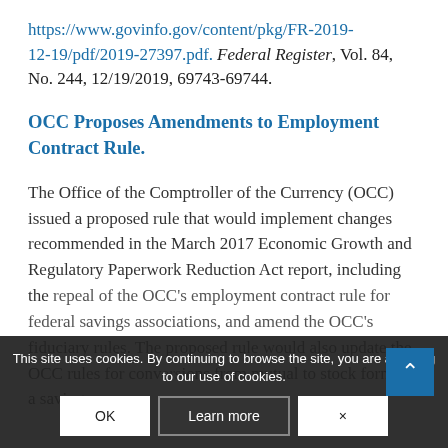https://www.govinfo.gov/content/pkg/FR-2019-12-19/pdf/2019-27397.pdf. Federal Register, Vol. 84, No. 244, 12/19/2019, 69743-69744.
OCC Proposes Amendments to Employment Contract Rule.
The Office of the Comptroller of the Currency (OCC) issued a proposed rule that would implement changes recommended in the March 2017 Economic Growth and Regulatory Paperwork Reduction Act report, including the repeal of the OCC's employment contract rule for federal savings associations, and amend the OCC's fiduciary rules. The proposed rule would also update the OCC rules for conversions from mutual to stock form of a savings